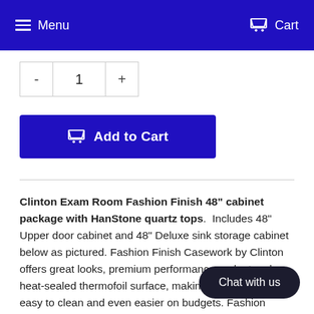Menu   Cart
- 1 +
Add to Cart
Clinton Exam Room Fashion Finish 48" cabinet package with HanStone quartz tops. Includes 48" Upper door cabinet and 48" Deluxe sink storage cabinet below as pictured. Fashion Finish Casework by Clinton offers great looks, premium performance and a tough, heat-sealed thermofoil surface, making Fashion Finish easy to clean and even easier on budgets. Fashion Finish is available in select configurations with economical, seamless laminate or contemporary quartz countertops, a perfect choice for modern exam rooms, clinics or anywhere style and
Chat with us